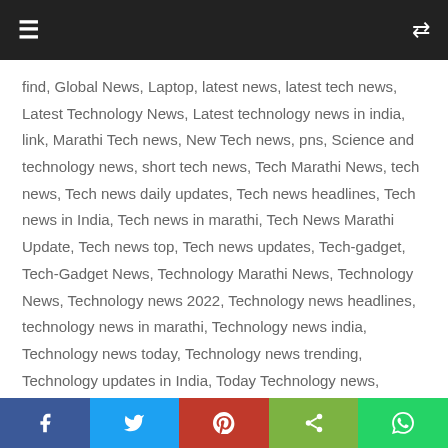≡   ⇌
find, Global News, Laptop, latest news, latest tech news, Latest Technology News, Latest technology news in india, link, Marathi Tech news, New Tech news, pns, Science and technology news, short tech news, Tech Marathi News, tech news, Tech news daily updates, Tech news headlines, Tech news in India, Tech news in marathi, Tech News Marathi Update, Tech news top, Tech news updates, Tech-gadget, Tech-Gadget News, Technology Marathi News, Technology News, Technology news 2022, Technology news headlines, technology news in marathi, Technology news india, Technology news today, Technology news trending, Technology updates in India, Today Technology news, Trending news, Trending Technology, Upcoming Technology News, whats, WhatsApp
To use WhatsApp on a laptop, you need to connect it to the
f  🐦  Pinterest  Share  WhatsApp